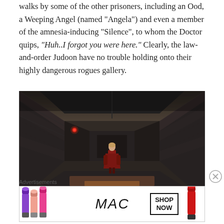walks by some of the other prisoners, including an Ood, a Weeping Angel (named "Angela") and even a member of the amnesia-inducing "Silence", to whom the Doctor quips, "Huh..I forgot you were here." Clearly, the law-and-order Judoon have no trouble holding onto their highly dangerous rogues gallery.
[Figure (photo): A dark sci-fi corridor scene with a figure in a red outfit standing in the center of a futuristic hallway with angular metallic walls and a red glowing element]
Advertisements
[Figure (photo): MAC cosmetics advertisement showing colorful lipsticks on the left, MAC logo in cursive in the center, a SHOP NOW box, and a red lipstick on the right]